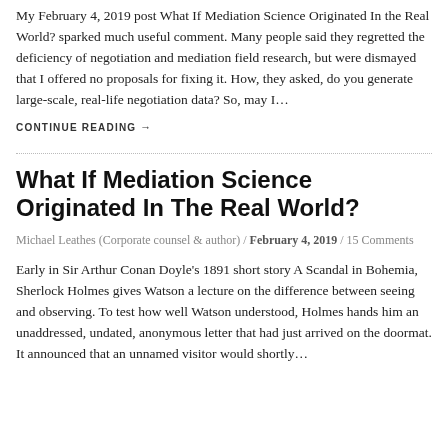My February 4, 2019 post What If Mediation Science Originated In the Real World? sparked much useful comment. Many people said they regretted the deficiency of negotiation and mediation field research, but were dismayed that I offered no proposals for fixing it. How, they asked, do you generate large-scale, real-life negotiation data? So, may I…
CONTINUE READING →
What If Mediation Science Originated In The Real World?
Michael Leathes (Corporate counsel & author) / February 4, 2019 / 15 Comments
Early in Sir Arthur Conan Doyle's 1891 short story A Scandal in Bohemia, Sherlock Holmes gives Watson a lecture on the difference between seeing and observing. To test how well Watson understood, Holmes hands him an unaddressed, undated, anonymous letter that had just arrived on the doormat. It announced that an unnamed visitor would shortly…